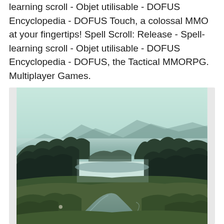learning scroll - Objet utilisable - DOFUS Encyclopedia - DOFUS Touch, a colossal MMO at your fingertips! Spell Scroll: Release - Spell-learning scroll - Objet utilisable - DOFUS Encyclopedia - DOFUS, the Tactical MMORPG. Multiplayer Games.
[Figure (photo): Landscape photo of a misty valley with a winding stream or river in the foreground, green meadow grass, dark conifer forest on the left and right sides, mountains in the background obscured by fog or mist, overcast pale green-grey sky.]